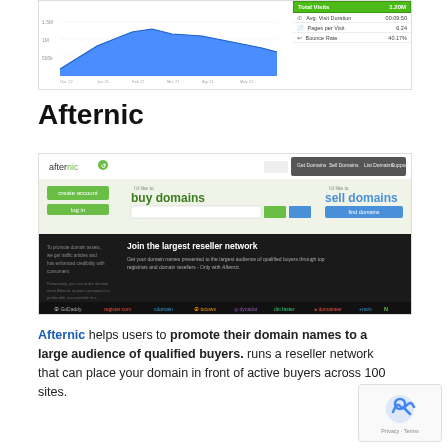[Figure (screenshot): Analytics dashboard screenshot showing an area chart with blue fill and a stats panel on the right with Total Visits: 1.20M, Avg. Visit Duration: 00:09:50, Pages per Visit: 6.24, Bounce Rate: 40.17%]
Afternic
[Figure (screenshot): Screenshot of the Afternic website homepage showing the afternic logo, 'buy domains' and 'sell domains' sections, and a dark banner reading 'Join the largest reseller network' with partner logos at the bottom.]
Afternic helps users to promote their domain names to a large audience of qualified buyers. runs a reseller network that can place your domain in front of active buyers across 100 sites.